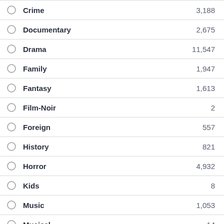Crime — 3,188
Documentary — 2,675
Drama — 11,547
Family — 1,947
Fantasy — 1,613
Film-Noir — 2
Foreign — 557
History — 821
Horror — 4,932
Kids — 8
Music — 1,053
Musical — 14